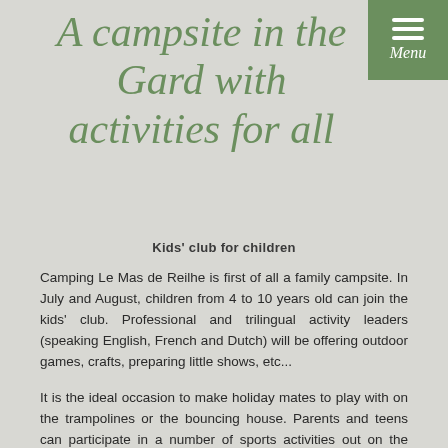A campsite in the Gard with activities for all
Kids' club for children
Camping Le Mas de Reilhe is first of all a family campsite. In July and August, children from 4 to 10 years old can join the kids' club. Professional and trilingual activity leaders (speaking English, French and Dutch) will be offering outdoor games, crafts, preparing little shows, etc...
It is the ideal occasion to make holiday mates to play with on the trampolines or the bouncing house. Parents and teens can participate in a number of sports activities out on the sports field, the outdoor fitness devices, table tennis tables and an entirely new boules game. And not to forget the heated pool, for hours of water fun during the hot afternoons of the Languedoc.